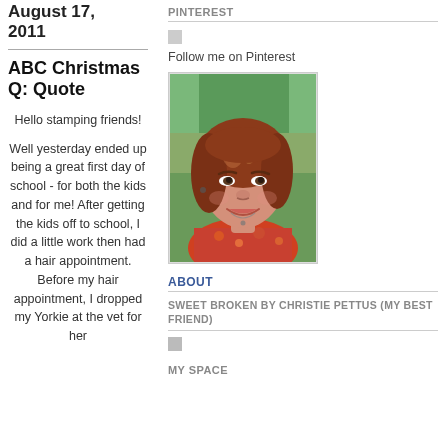August 17, 2011
ABC Christmas Q: Quote
Hello stamping friends!
Well yesterday ended up being a great first day of school - for both the kids and for me! After getting the kids off to school, I did a little work then had a hair appointment. Before my hair appointment, I dropped my Yorkie at the vet for her
PINTEREST
Follow me on Pinterest
[Figure (photo): Portrait photo of a smiling woman with auburn/red hair wearing a colorful floral top, outdoors with green foliage in background]
ABOUT
SWEET BROKEN BY CHRISTIE PETTUS (MY BEST FRIEND)
MY SPACE